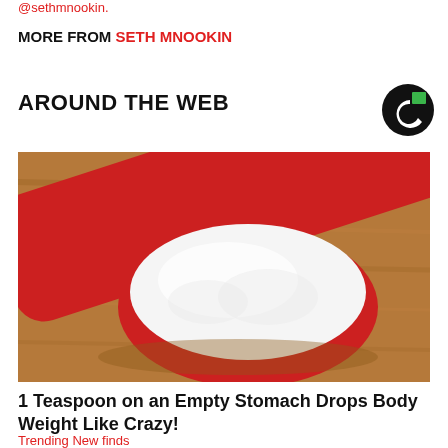@sethmnooki n.
MORE FROM SETH MNOOKIN
AROUND THE WEB
[Figure (photo): A red measuring spoon filled with white powder, resting on a wooden surface.]
1 Teaspoon on an Empty Stomach Drops Body Weight Like Crazy!
Trending New finds